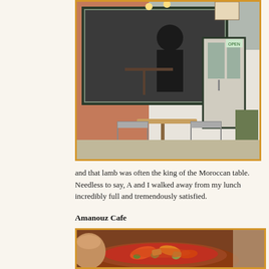[Figure (photo): Exterior photo of a cafe storefront with outdoor seating (metal chairs and a small table on the sidewalk), large windows showing patrons inside, and a door with a potted plant nearby. Orange/yellow border frame.]
and that lamb was often the king of the Moroccan table. Needless to say, A and I walked away from my lunch incredibly full and tremendously satisfied.
Amanouz Cafe
[Figure (photo): Close-up photo of a Moroccan clay tagine dish filled with stewed vegetables including red and yellow peppers, olives, and other vegetables in a rich tomato sauce. Orange/yellow border frame.]